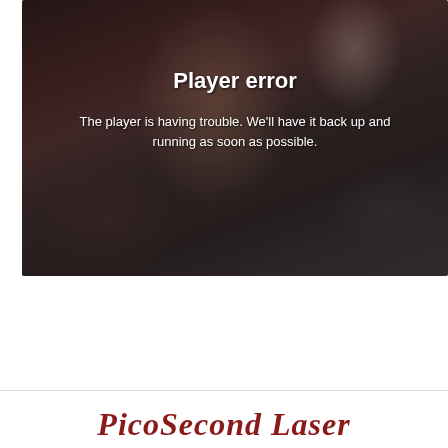[Figure (screenshot): Video player showing a woman lying down receiving a facial treatment, with a 'Player error' overlay message. The player is having trouble message is displayed in white text over the darkened image.]
Player error
The player is having trouble. We'll have it back up and running as soon as possible.
[Figure (logo): PicoSecond Laser logo in dark red cursive/italic script text]